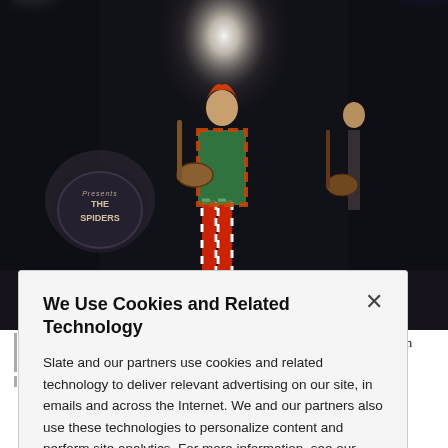[Figure (photo): Concert photograph of David Bowie performing onstage during his Ziggy Stardust era in 1973 in Los Angeles. Stage is dark with bright spotlights, a drum kit visible on the left with 'THE SPIDERS' text, and a guitarist on the right.]
David Bowie performs onstage during his Ziggy Stardust era in 1973 in Los Angeles.
Photo by Michael Ochs Archives/Getty Images
We Use Cookies and Related Technology

Slate and our partners use cookies and related technology to deliver relevant advertising on our site, in emails and across the Internet. We and our partners also use these technologies to personalize content and perform site analytics. For more information, see our terms and privacy policy. Privacy Policy

OK